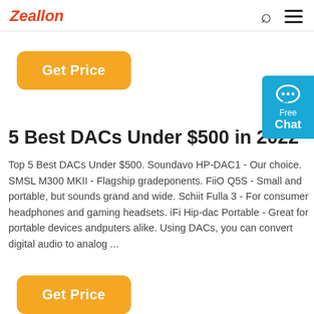Zeallon
[Figure (other): Get Price orange button]
[Figure (other): Free Chat blue widget with chat bubble icon]
5 Best DACs Under $500 in 2022
Top 5 Best DACs Under $500. Soundavo HP-DAC1 - Our choice. SMSL M300 MKII - Flagship gradeponents. FiiO Q5S - Small and portable, but sounds grand and wide. Schiit Fulla 3 - For consumer headphones and gaming headsets. iFi Hip-dac Portable - Great for portable devices andputers alike. Using DACs, you can convert digital audio to analog ...
[Figure (other): Get Price orange button (bottom)]